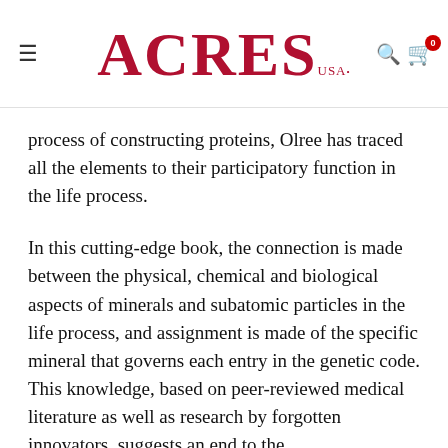ACRES USA
process of constructing proteins, Olree has traced all the elements to their participatory function in the life process.
In this cutting-edge book, the connection is made between the physical, chemical and biological aspects of minerals and subatomic particles in the life process, and assignment is made of the specific mineral that governs each entry in the genetic code. This knowledge, based on peer-reviewed medical literature as well as research by forgotten innovators, suggests an end to the